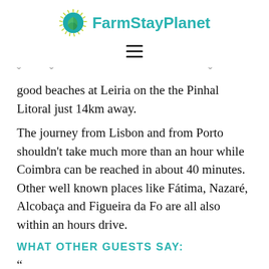FarmStayPlanet
[Figure (logo): FarmStayPlanet logo with globe icon showing green leaves and teal/blue globe]
good beaches at Leiria on the the Pinhal Litoral just 14km away.
The journey from Lisbon and from Porto shouldn't take much more than an hour while Coimbra can be reached in about 40 minutes. Other well known places like Fátima, Nazaré, Alcobaça and Figueira da Fo are all also within an hours drive.
WHAT OTHER GUESTS SAY:
"...